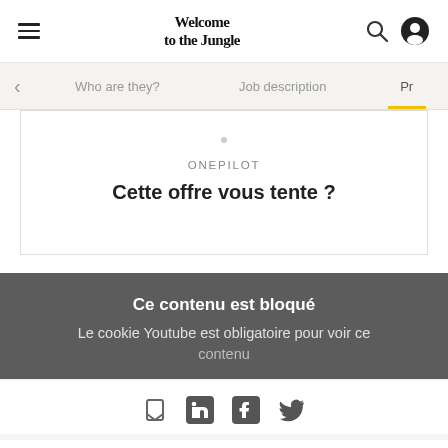Welcome to the Jungle — navigation bar with hamburger menu, logo, search and user icons
Who are they? | Job description | Pr
ONEPILOT
Cette offre vous tente ?
Ce contenu est bloqué
Le cookie Youtube est obligatoire pour voir ce contenu
[Figure (infographic): Social share icons: bookmark, LinkedIn, Facebook, Twitter]